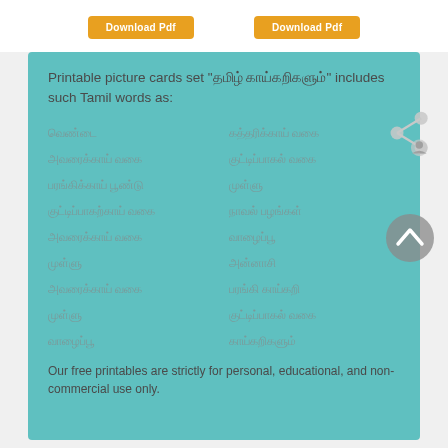[Figure (other): Two orange 'Download Pdf' buttons side by side at the top of the page]
Printable picture cards set "தமிழ் காய்கறிகளும்" includes such Tamil words as:
வெண்டை
கத்தரிக்காய் வகை
பரங்கிக்காய் வகை
குட்டிப்பாகற்காய் வகை
அவரைக்காய் வகை
முள்ளு
அவரைக்காய் வகை
முள்ளு
வாழைப்பூ
அன்னாசி
Our free printables are strictly for personal, educational, and non-commercial use only.